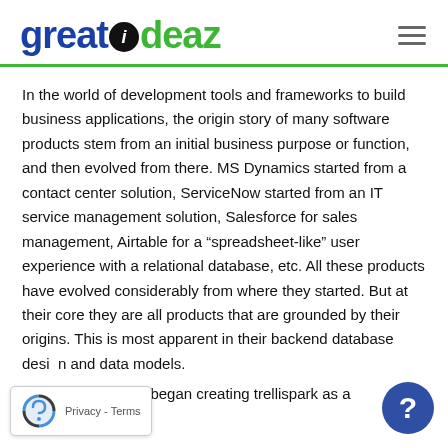[Figure (logo): Great Ideaz logo with stylized text in blue and green with black circle around the letter i]
In the world of development tools and frameworks to build business applications, the origin story of many software products stem from an initial business purpose or function, and then evolved from there. MS Dynamics started from a contact center solution, ServiceNow started from an IT service management solution, Salesforce for sales management, Airtable for a “spreadsheet-like” user experience with a relational database, etc. All these products have evolved considerably from where they started. But at their core they are all products that are grounded by their origins. This is most apparent in their backend database design and data models.

At Great Ideaz, we began creating trellispark as a